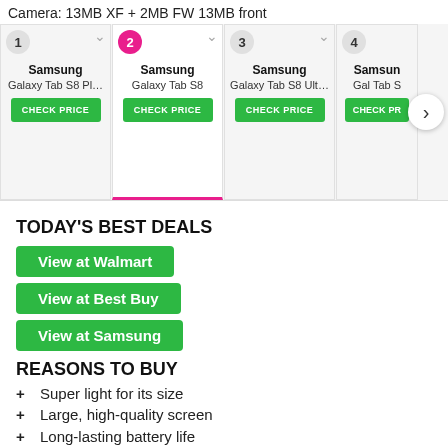Camera: 13MB XF + 2MB FW 13MB front
[Figure (screenshot): Product carousel showing Samsung Galaxy Tab S8 Plus (1), Samsung Galaxy Tab S8 (2, selected/highlighted), Samsung Galaxy Tab S8 Ult... (3), Samsung Galaxy Tab S... (4, partially visible). Each card has a CHECK PRICE green button. A right navigation arrow is visible on the right.]
TODAY'S BEST DEALS
View at Walmart
View at Best Buy
View at Samsung
REASONS TO BUY
+ Super light for its size
+ Large, high-quality screen
+ Long-lasting battery life
+ Quad speakers
+ Optional hardware keyboard cover
+ Productivity features including DeX Desktop
REASONS TO AVOID